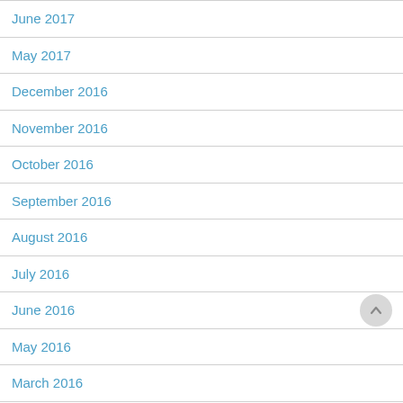June 2017
May 2017
December 2016
November 2016
October 2016
September 2016
August 2016
July 2016
June 2016
May 2016
March 2016
February 2016